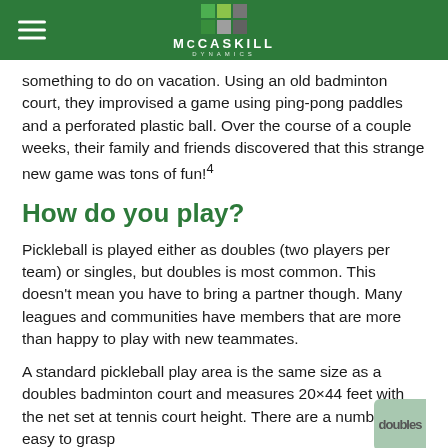McCaskill
something to do on vacation. Using an old badminton court, they improvised a game using ping-pong paddles and a perforated plastic ball. Over the course of a couple weeks, their family and friends discovered that this strange new game was tons of fun!4
How do you play?
Pickleball is played either as doubles (two players per team) or singles, but doubles is most common. This doesn't mean you have to bring a partner though. Many leagues and communities have members that are more than happy to play with new teammates.
A standard pickleball play area is the same size as a doubles badminton court and measures 20×44 feet with the net set at tennis court height. There are a number of easy to grasp